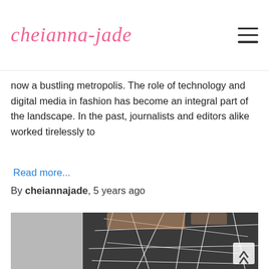cheianna-jade
now a bustling metropolis. The role of technology and digital media in fashion has become an integral part of the landscape. In the past, journalists and editors alike worked tirelessly to
Read more...
By cheiannajade, 5 years ago
[Figure (photo): Woman wearing a black and white geometric patterned dress/skirt, cropped from waist down, with a grey background]